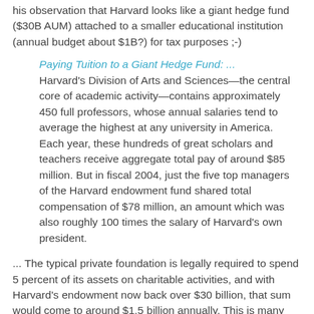his observation that Harvard looks like a giant hedge fund ($30B AUM) attached to a smaller educational institution (annual budget about $1B?) for tax purposes ;-)
Paying Tuition to a Giant Hedge Fund: ... Harvard's Division of Arts and Sciences—the central core of academic activity—contains approximately 450 full professors, whose annual salaries tend to average the highest at any university in America. Each year, these hundreds of great scholars and teachers receive aggregate total pay of around $85 million. But in fiscal 2004, just the five top managers of the Harvard endowment fund shared total compensation of $78 million, an amount which was also roughly 100 times the salary of Harvard's own president.
... The typical private foundation is legally required to spend 5 percent of its assets on charitable activities, and with Harvard's endowment now back over $30 billion, that sum would come to around $1.5 billion annually. This is many times the total amount of undergraduate